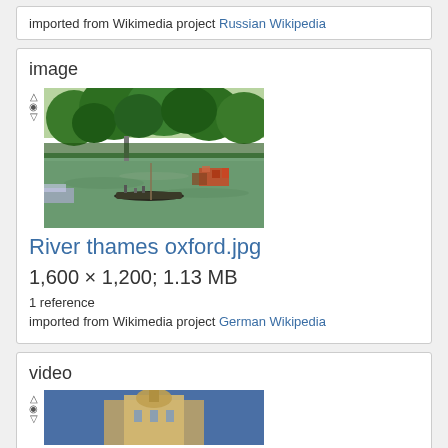imported from Wikimedia project Russian Wikipedia
image
[Figure (photo): Photo of River Thames at Oxford showing green trees, a punt with people, and boats along the banks]
River thames oxford.jpg
1,600 × 1,200; 1.13 MB
1 reference
imported from Wikimedia project German Wikipedia
video